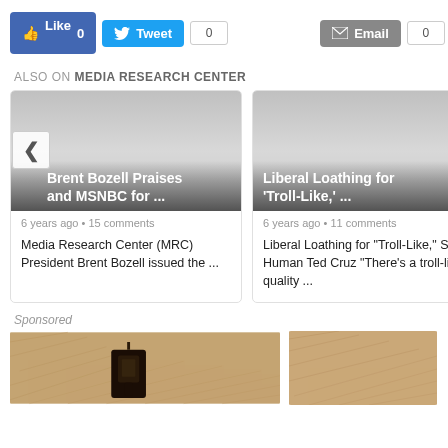[Figure (screenshot): Social sharing buttons: Facebook Like (0), Tweet (0), Email (0), Share]
ALSO ON MEDIA RESEARCH CENTER
[Figure (screenshot): Article card: Brent Bozell Praises and MSNBC for ... — 6 years ago • 15 comments — Media Research Center (MRC) President Brent Bozell issued the ...]
[Figure (screenshot): Article card: Liberal Loathing for 'Troll-Like,' ... — 6 years ago • 11 comments — Liberal Loathing for "Troll-Like," Sub-Human Ted Cruz "There's a troll-like quality ...]
Sponsored
[Figure (photo): Sponsored image showing a rusty outdoor light fixture on a textured wall]